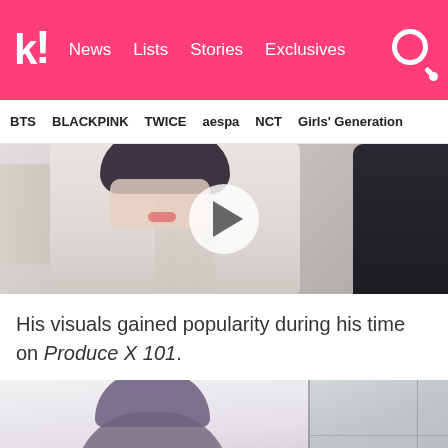k! News Lists Stories Exclusives
BTS  BLACKPINK  TWICE  aespa  NCT  Girls' Generation
[Figure (photo): Person in a white knit sweater with dark hair, with a play button overlay indicating a video thumbnail]
His visuals gained popularity during his time on Produce X 101.
[Figure (photo): Person with purple-gray styled hair, split image with a gray background on the right side]